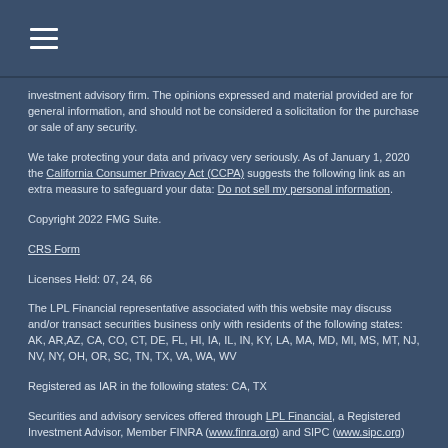investment advisory firm. The opinions expressed and material provided are for general information, and should not be considered a solicitation for the purchase or sale of any security.
We take protecting your data and privacy very seriously. As of January 1, 2020 the California Consumer Privacy Act (CCPA) suggests the following link as an extra measure to safeguard your data: Do not sell my personal information.
Copyright 2022 FMG Suite.
CRS Form
Licenses Held: 07, 24, 66
The LPL Financial representative associated with this website may discuss and/or transact securities business only with residents of the following states: AK, AR,AZ, CA, CO, CT, DE, FL, HI, IA, IL, IN, KY, LA, MA, MD, MI, MS, MT, NJ, NV, NY, OH, OR, SC, TN, TX, VA, WA, WV
Registered as IAR in the following states: CA, TX
Securities and advisory services offered through LPL Financial, a Registered Investment Advisor, Member FINRA (www.finra.org) and SIPC (www.sipc.org)